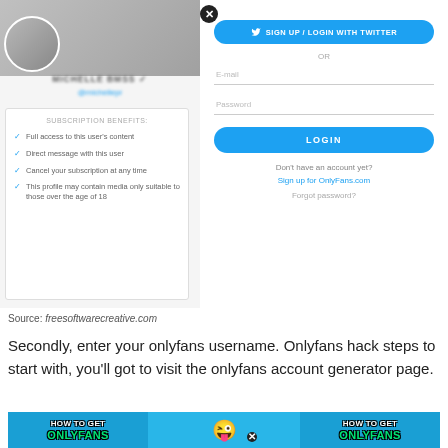[Figure (screenshot): Screenshot of an OnlyFans login/signup modal. Left panel shows a blurred profile (MICHELLE BMSS with blue checkmark, blurred handle), and a subscription benefits box listing: Full access to this user's content, Direct message with this user, Cancel your subscription at any time, This profile may contain media only suitable to those over the age of 18. Right panel shows a 'SIGN UP / LOGIN WITH TWITTER' button, OR separator, E-mail and Password fields, a LOGIN button, 'Don't have an account yet?', 'Sign up for OnlyFans.com', and 'Forgot password?'. A close X button is visible.]
Source: freesoftwarecreative.com
Secondly, enter your onlyfans username. Onlyfans hack steps to start with, you'll got to visit the onlyfans account generator page.
[Figure (screenshot): Banner image with blue background showing 'HOW TO GET ONLYFANS' text in white/green bold outlined letters on both left and right sides, with a dollar-sign emoji face in the center with an X-mark overlay.]